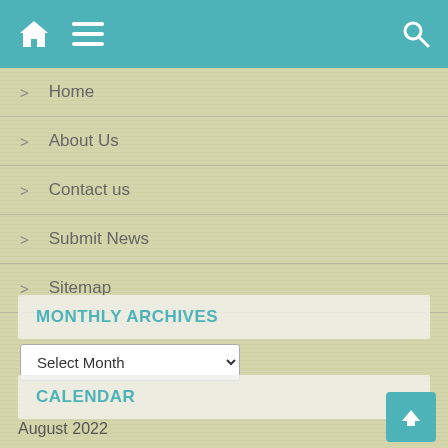Navigation header with home, menu, and search icons
> Home
> About Us
> Contact us
> Submit News
> Sitemap
MONTHLY ARCHIVES
Select Month
CALENDAR
August 2022